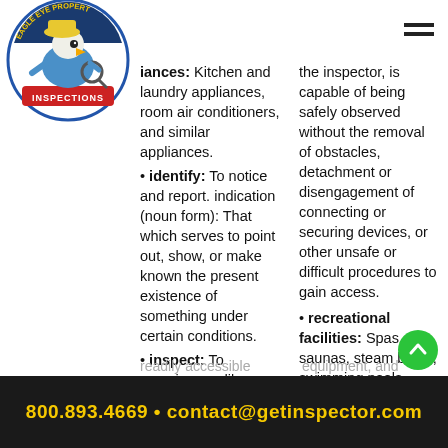[Figure (logo): Eagle Eye Property Inspections logo with eagle mascot holding magnifying glass]
appliances: Kitchen and laundry appliances, room air conditioners, and similar appliances.
identify: To notice and report. indication (noun form): That which serves to point out, show, or make known the present existence of something under certain conditions.
inspect: To examine readily accessible systems and components safely, using normal operating controls, and accessing readily accessible
the inspector, is capable of being safely observed without the removal of obstacles, detachment or disengagement of connecting or securing devices, or other unsafe or difficult procedures to gain access.
recreational facilities: Spas, saunas, steam baths, swimming pools, tennis courts, playground equipment, and
800.893.4669 • contact@getinspector.com